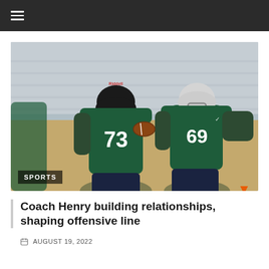[Figure (photo): Football players in green jerseys numbered 73 and 69 practicing blocking drills on a field during training camp.]
Coach Henry building relationships, shaping offensive line
AUGUST 19, 2022